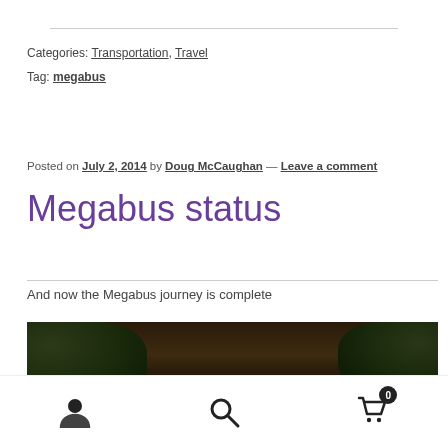Categories: Transportation, Travel
Tag: megabus
Posted on July 2, 2014 by Doug McCaughan — Leave a comment
Megabus status
And now the Megabus journey is complete
[Figure (photo): Dark photo showing a person with reddish-brown hair from behind, with foliage in the background and a light source visible on the right.]
User icon | Search icon | Shopping cart icon with badge 0